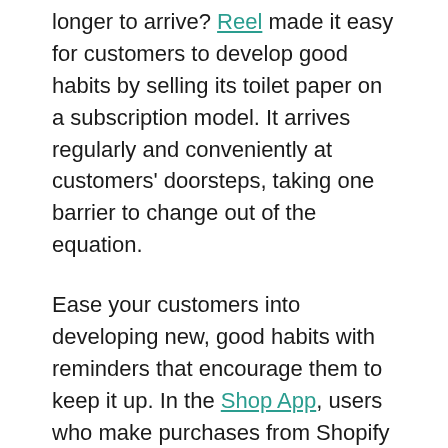longer to arrive? Reel made it easy for customers to develop good habits by selling its toilet paper on a subscription model. It arrives regularly and conveniently at customers' doorsteps, taking one barrier to change out of the equation.
Ease your customers into developing new, good habits with reminders that encourage them to keep it up. In the Shop App, users who make purchases from Shopify stores can track the trees that have been protected thanks to orders that qualify for carbon offsets.
6. Incentivize and reward